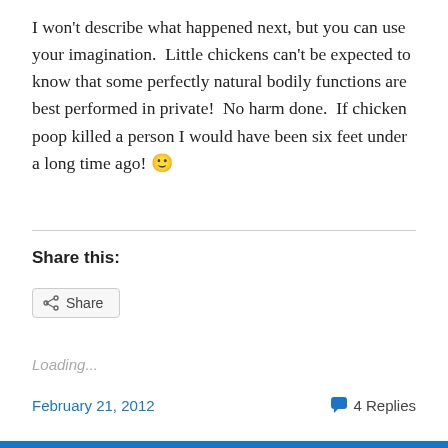I won't describe what happened next, but you can use your imagination.  Little chickens can't be expected to know that some perfectly natural bodily functions are best performed in private!  No harm done.  If chicken poop killed a person I would have been six feet under a long time ago! 🙂
Share this:
Share
Loading...
February 21, 2012    💬 4 Replies